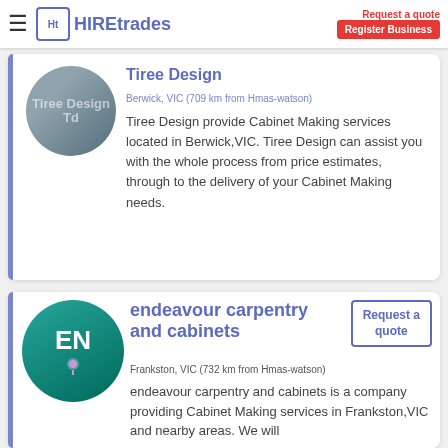HIREtrades — Request a quote | Register Business
Tiree Design
Berwick, VIC (709 km from Hmas-watson)
Tiree Design provide Cabinet Making services located in Berwick,VIC. Tiree Design can assist you with the whole process from price estimates, through to the delivery of your Cabinet Making needs.
endeavour carpentry and cabinets
Frankston, VIC (732 km from Hmas-watson)
endeavour carpentry and cabinets is a company providing Cabinet Making services in Frankston,VIC and nearby areas. We will